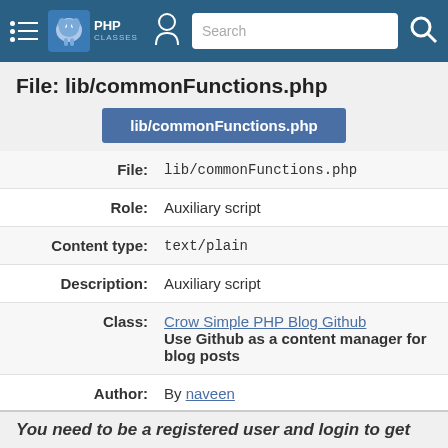PHPClasses Search
File: lib/commonFunctions.php
lib/commonFunctions.php
| Field | Value |
| --- | --- |
| File: | lib/commonFunctions.php |
| Role: | Auxiliary script |
| Content type: | text/plain |
| Description: | Auxiliary script |
| Class: | Crow Simple PHP Blog Github
Use Github as a content manager for blog posts |
| Author: | By naveen |
| Last change: |  |
| Date: | 3 years ago |
| Size: | 1,381 bytes |
You need to be a registered user and login to get